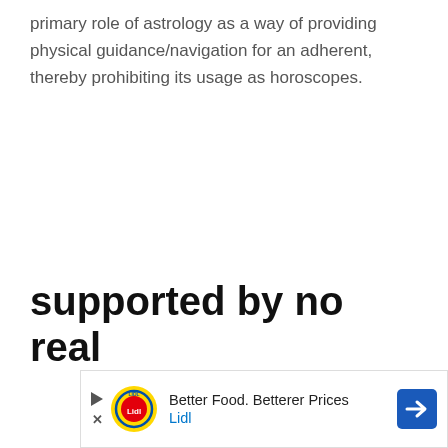primary role of astrology as a way of providing physical guidance/navigation for an adherent, thereby prohibiting its usage as horoscopes.
supported by no real
[Figure (other): Lidl advertisement banner: 'Better Food. Betterer Prices' with Lidl logo and navigation arrow icon]